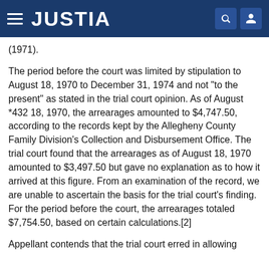JUSTIA
(1971).
The period before the court was limited by stipulation to August 18, 1970 to December 31, 1974 and not "to the present" as stated in the trial court opinion. As of August *432 18, 1970, the arrearages amounted to $4,747.50, according to the records kept by the Allegheny County Family Division's Collection and Disbursement Office. The trial court found that the arrearages as of August 18, 1970 amounted to $3,497.50 but gave no explanation as to how it arrived at this figure. From an examination of the record, we are unable to ascertain the basis for the trial court's finding. For the period before the court, the arrearages totaled $7,754.50, based on certain calculations.[2]
Appellant contends that the trial court erred in allowing